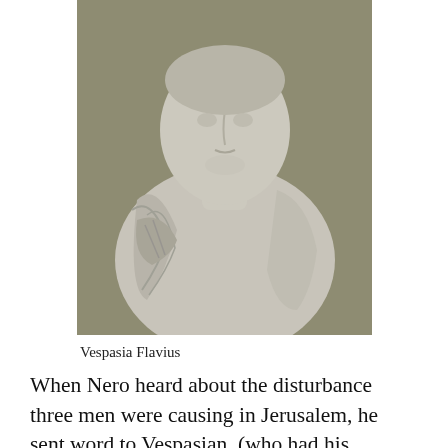[Figure (photo): A marble bust sculpture of Vespasia Flavius, showing the head and upper torso draped in Roman-style robes, photographed against a neutral background.]
Vespasia Flavius
When Nero heard about the disturbance three men were causing in Jerusalem, he sent word to Vespasian, (who had his garrison in a certain place in Syria) Prepare to move toward Jerusalem and put down a revolt. I was reading Josephus the other day to get all this in my mind, what really